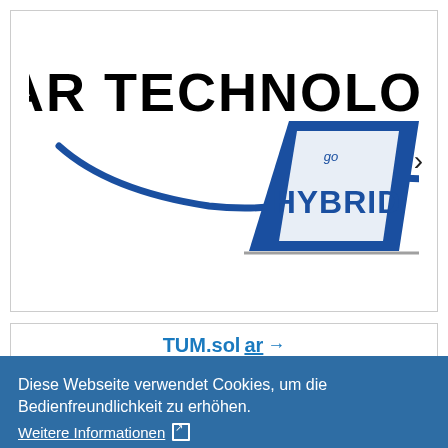[Figure (logo): Solar Technologies Go Hybrid logo — company name in large black serif-style small caps, with a blue swoosh/arrow graphic and white triangle with 'go HYBRID' text in blue]
[Figure (screenshot): Partial view of second slide box showing 'TUM.sol' text in teal/blue with an arrow, partially obscured by cookie banner]
Diese Webseite verwendet Cookies, um die Bedienfreundlichkeit zu erhöhen.
Weitere Informationen ↗
notwendige Cookies
alle Cookies